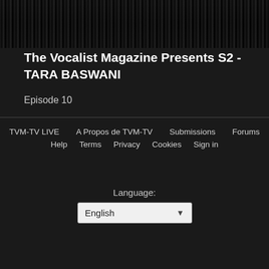[Figure (photo): A dark banner image at the top of the page showing people, likely musicians or performers, in a dimly lit setting.]
The Vocalist Magazine Presents S2 - TARA BASWANI
Episode 10
TVM-TV LIVE   A Propos de TVM-TV   Submissions   Forums   Help   Terms   Privacy   Cookies   Sign in
Language:
English